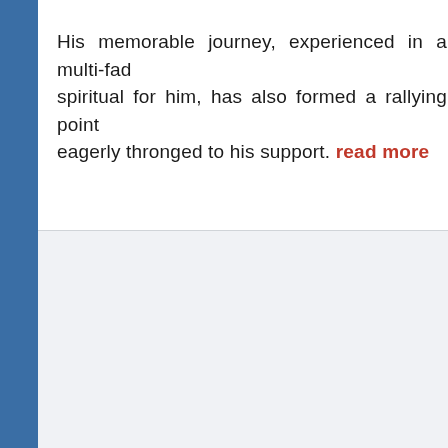His memorable journey, experienced in a multi-fad spiritual for him, has also formed a rallying point eagerly thronged to his support. read more